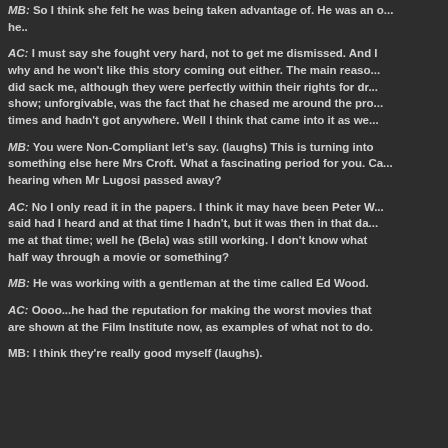MB: So I think she felt he was being taken advantage of. He was an o... he..
AC: I must say she fought very hard, not to get me dismissed. And I why and he won't like this story coming out either. The main reaso... did sack me, although they were perfectly within their rights for dr... show; unforgivable, was the fact that he chased me around the pro... times and hadn't got anywhere. Well I think that came into it as we...
MB: You were Non-Compliant let's say. (laughs) This is turning into something else here Mrs Croft. What a fascinating period for you. Ca... hearing when Mr Lugosi passed away?
AC: No I only read it in the papers. I think it may have been Peter W... said had I heard and at that time I hadn't, but it was then in that da... me at that time; well he (Bela) was still working. I don't know what half way through a movie or something?
MB: He was working with a gentleman at the time called Ed Wood.
AC: Oooo...he had the reputation for making the worst movies that are shown at the Film Institute now, as examples of what not to do.
MB: I think they're really good myself (laughs).